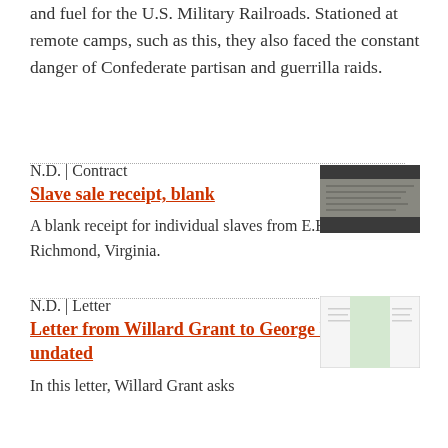and fuel for the U.S. Military Railroads. Stationed at remote camps, such as this, they also faced the constant danger of Confederate partisan and guerrilla raids.
N.D. | Contract
Slave sale receipt, blank
A blank receipt for individual slaves from E.H. Stokes of Richmond, Virginia.
[Figure (photo): Thumbnail image of a slave sale receipt document, dark background with handwritten text visible]
N.D. | Letter
Letter from Willard Grant to George P. Cather, undated
In this letter, Willard Grant asks
[Figure (photo): Thumbnail image of a letter document, light green/white folded paper]